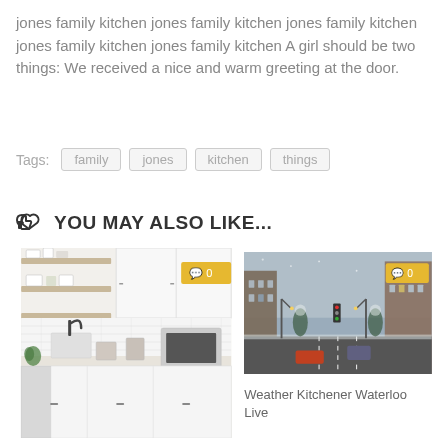jones family kitchen jones family kitchen jones family kitchen jones family kitchen jones family kitchen A girl should be two things: We received a nice and warm greeting at the door.
Tags: family  jones  kitchen  things
YOU MAY ALSO LIKE...
[Figure (photo): A modern white kitchen with open shelves, black faucet, and subway tile backsplash]
[Figure (photo): A snowy city street scene in Kitchener Waterloo during winter]
Weather Kitchener Waterloo Live